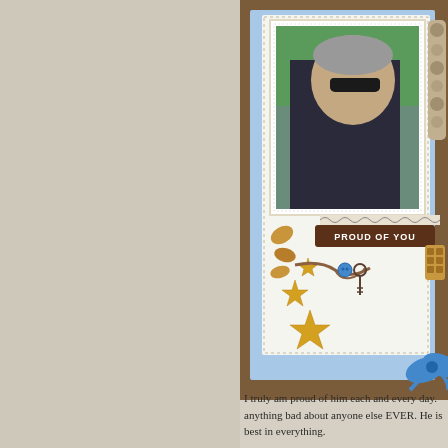[Figure (photo): A scrapbook layout page featuring a photo of a man with gray hair and sunglasses wearing a black shirt, outdoors with greenery in background. The scrapbook page has blue and white paper layers, decorative elements including golden stars, autumn leaves, a key with rope, a blue bow ribbon, and a brown banner reading 'PROUD OF YOU'. The background is a warm brown wooden texture.]
I truly am proud of him each and every day. anything bad about anyone else EVER. He is best in everything.